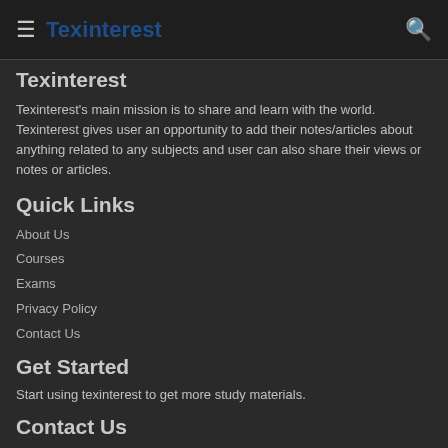Texinterest
Texinterest
Texinterest's main mission is to share and learn with the world. Texinterest gives user an opportunity to add their notes/articles about anything related to any subjects and user can also share their views or notes or articles.
Quick Links
About Us
Courses
Exams
Privacy Policy
Contact Us
Get Started
Start using texinterest to get more study materials.
Contact Us